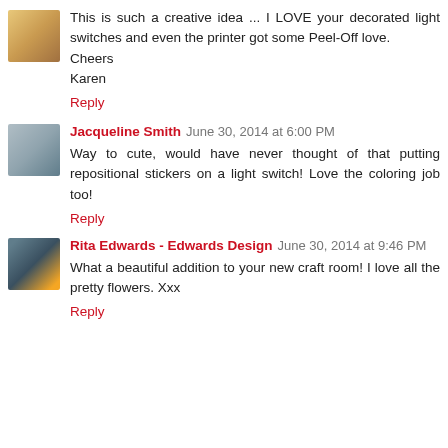This is such a creative idea ... I LOVE your decorated light switches and even the printer got some Peel-Off love. Cheers Karen
Reply
Jacqueline Smith June 30, 2014 at 6:00 PM
Way to cute, would have never thought of that putting repositional stickers on a light switch! Love the coloring job too!
Reply
Rita Edwards - Edwards Design June 30, 2014 at 9:46 PM
What a beautiful addition to your new craft room! I love all the pretty flowers. Xxx
Reply